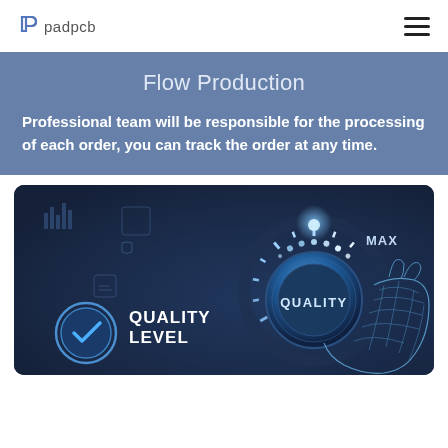padpcb
Flow Production
Professional team will be responsible for the processing of each order, you can track the order at any time.
[Figure (illustration): Dark blue technology background with a wireframe hand turning a quality dial/knob to MAX position. Left side shows a checkmark badge with 'QUALITY LEVEL' text. Knob displays 'QUALITY' label. Dashboard elements visible in background.]